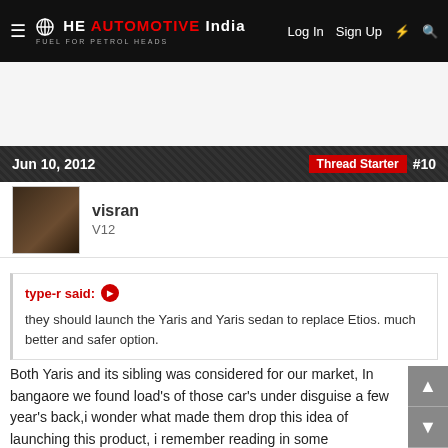THE AUTOMOTIVE INDIA | Log In  Sign Up  ⚡  🔍
Jun 10, 2012  Thread Starter  #10
visran
V12
type-r said: ➤
they should launch the Yaris and Yaris sedan to replace Etios. much better and safer option.
Both Yaris and its sibling was considered for our market, In bangaore we found load's of those car's under disguise a few year's back,i wonder what made them drop this idea of launching this product, i remember reading in some publication that they found out that these model's were too expensive for our market 🙂